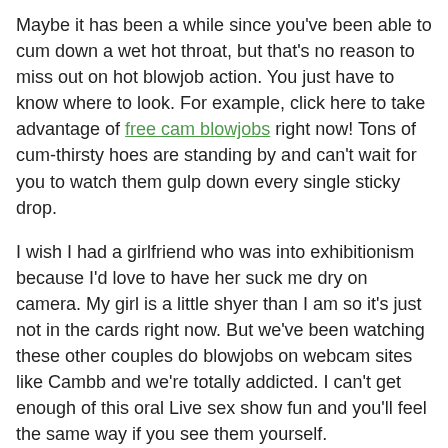Maybe it has been a while since you've been able to cum down a wet hot throat, but that's no reason to miss out on hot blowjob action. You just have to know where to look. For example, click here to take advantage of free cam blowjobs right now! Tons of cum-thirsty hoes are standing by and can't wait for you to watch them gulp down every single sticky drop.
I wish I had a girlfriend who was into exhibitionism because I'd love to have her suck me dry on camera. My girl is a little shyer than I am so it's just not in the cards right now. But we've been watching these other couples do blowjobs on webcam sites like Cambb and we're totally addicted. I can't get enough of this oral Live sex show fun and you'll feel the same way if you see them yourself.
There is never a bad time to get started watching blowjob shows, but the absolute fucking best time would be RIGHT NOW.